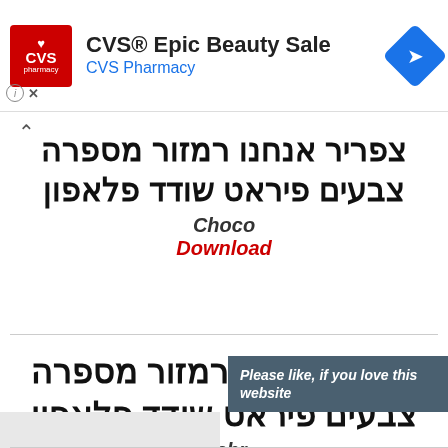[Figure (screenshot): CVS Pharmacy ad banner with red CVS logo, title 'CVS® Epic Beauty Sale', subtitle 'CVS Pharmacy', and blue diamond navigation icon]
צפריר אנחנו רמזור מספרה צבעים פיראט שודד פלאפון
Choco
Download
צפריר אנחנו רמזור מספרה צבעים פיראט שודד פלאפון
Hebr
Please like, if you love this website